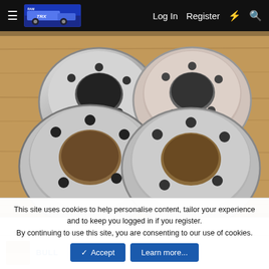Log In   Register
[Figure (photo): Four aluminum wheel spacers with five bolt holes each, arranged on a wooden surface. The spacers appear to be machined aluminum, slightly worn, two larger ones in front and two smaller/thinner ones at the back.]
BULL
This site uses cookies to help personalise content, tailor your experience and to keep you logged in if you register.
By continuing to use this site, you are consenting to our use of cookies.
Accept   Learn more...